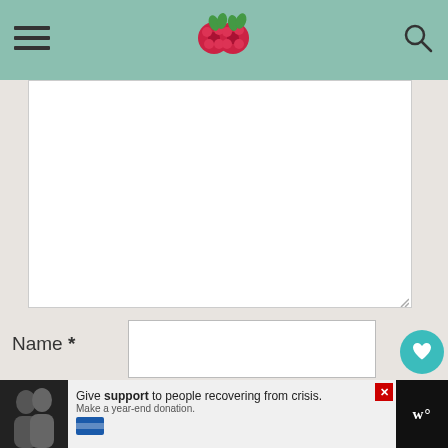[Figure (screenshot): White comment textarea with resize handle at bottom right]
Name *
Email *
Website
822
WHAT'S NEXT → Oatmeal Dried Cherry...
Give support to people recovering from crisis. Make a year-end donation.